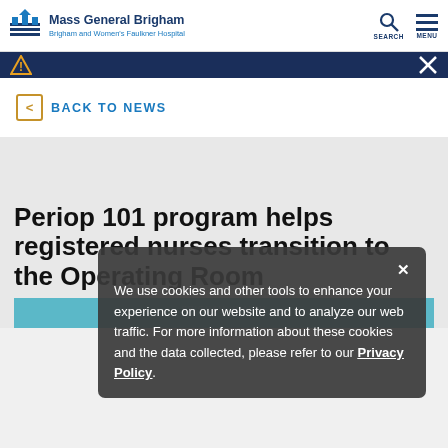Mass General Brigham — Brigham and Women's Faulkner Hospital
BACK TO NEWS
Periop 101 program helps registered nurses transition to the Operating Room
We use cookies and other tools to enhance your experience on our website and to analyze our web traffic. For more information about these cookies and the data collected, please refer to our Privacy Policy.